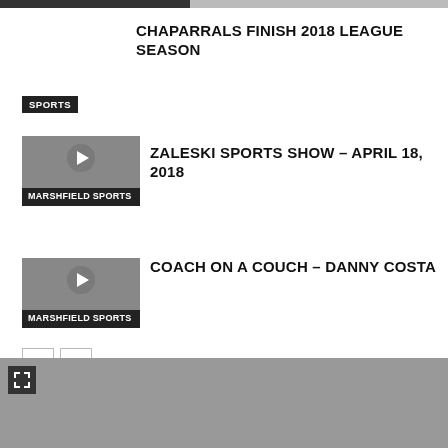CHAPARRALS FINISH 2018 LEAGUE SEASON
SPORTS
ZALESKI SPORTS SHOW – APRIL 18, 2018
[Figure (other): Marshfield Sports video thumbnail with play button]
COACH ON A COUCH – DANNY COSTA
[Figure (other): Marshfield Sports video thumbnail with play button]
[Figure (other): Gray area with expand/fullscreen icon at bottom of page]